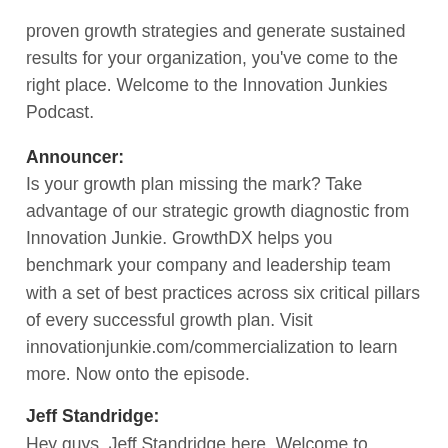proven growth strategies and generate sustained results for your organization, you've come to the right place. Welcome to the Innovation Junkies Podcast.
Announcer:
Is your growth plan missing the mark? Take advantage of our strategic growth diagnostic from Innovation Junkie. GrowthDX helps you benchmark your company and leadership team with a set of best practices across six critical pillars of every successful growth plan. Visit innovationjunkie.com/commercialization to learn more. Now onto the episode.
Jeff Standridge:
Hey guys, Jeff Standridge here. Welcome to another episode of the Innovation Junkies podcast. I'm here with my